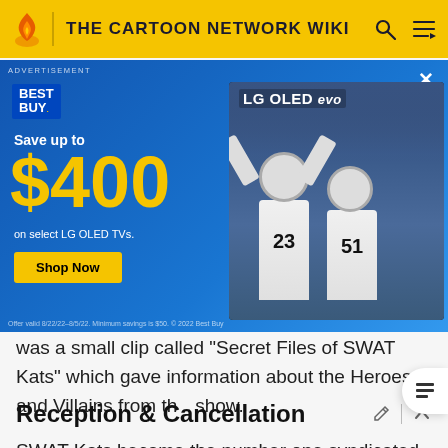THE CARTOON NETWORK WIKI
[Figure (screenshot): Best Buy advertisement banner promoting 'Save up to $400 on select LG OLED TVs' with Shop Now button, showing LG OLED evo TV with football players on screen. Blue background. Offer valid 8/22/22-8/5/22. Minimum savings is $50. © 2022 Best Buy.]
was a small clip called "Secret Files of SWAT Kats" which gave information about the Heroes and Villains from the show.
Reception & Cancellation
SWAT Kats became the number one syndicated animated show of 1994, according to Nielsen Television Index (NTI) and Nielsen Syndication Service (NSS). Hanna Barbera